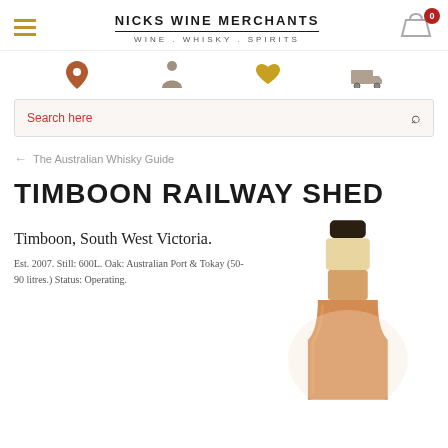NICKS WINE MERCHANTS — WINE . WHISKY . SPIRITS
Search here
← The Australian Whisky Guide
TIMBOON RAILWAY SHED
Timboon, South West Victoria.
Est. 2007. Still: 600L. Oak: Australian Port & Tokay (50-90 litres.) Status: Operating.
[Figure (photo): Bottle of Timboon Railway Shed whisky showing neck and upper body with amber liquid]